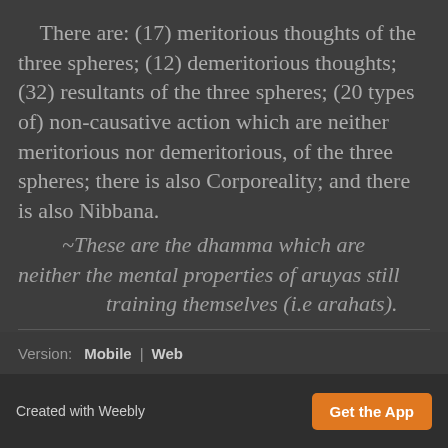There are:  (17) meritorious thoughts of the three spheres;  (12) demeritorious thoughts;  (32) resultants of the three spheres;  (20 types of) non-causative action which are neither meritorious nor demeritorious, of the three spheres;  there is also Corporeality;  and there is also Nibbana.
~These are the dhamma which are neither the mental properties of aruyas still training themselves (i.e arahats).
Version:  Mobile  |  Web
Created with Weebly   Get the App